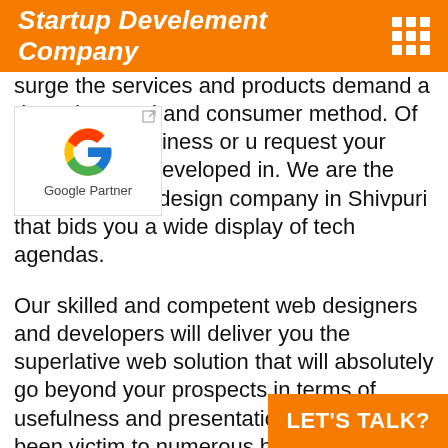Startup Develement Company
[Figure (logo): Google Partner badge with Google G logo and text 'Google Partner']
surge the services and products demand a data obsessed and consumer method. Of any kind of business or u request your website to be developed in. We are the foremost web design company in Shivpuri that bids you a wide display of tech agendas.
Our skilled and competent web designers and developers will deliver you the superlative web solution that will absolutely go beyond your prospects in terms of usefulness and presentation. We have been victim to numerous businesses and ser
LET'S TALK?